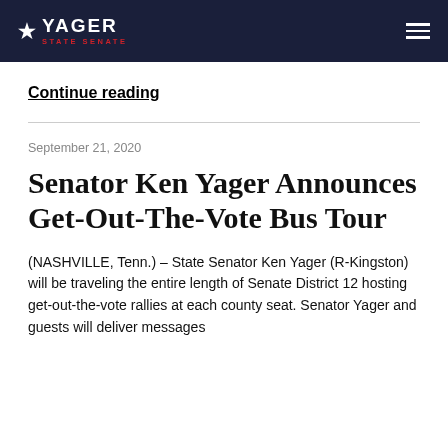★ YAGER STATE SENATE
Continue reading
September 21, 2020
Senator Ken Yager Announces Get-Out-The-Vote Bus Tour
(NASHVILLE, Tenn.) – State Senator Ken Yager (R-Kingston) will be traveling the entire length of Senate District 12 hosting get-out-the-vote rallies at each county seat. Senator Yager and guests will deliver messages...